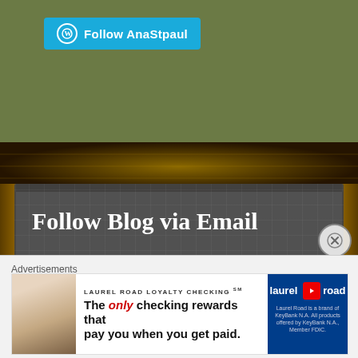[Figure (screenshot): Green background header area with WordPress Follow button labeled 'Follow AnaStpaul' in cyan/blue]
[Figure (screenshot): Gold ornamental background strip]
Follow Blog via Email
Enter your email address to follow this blog and receive notifications of new posts by email.
[Figure (other): Email input field with placeholder text 'Enter your email address']
[Figure (other): Close button (X) circle]
Advertisements
[Figure (screenshot): Advertisement for Laurel Road Loyalty Checking - 'The only checking rewards that pay you when you get paid.']